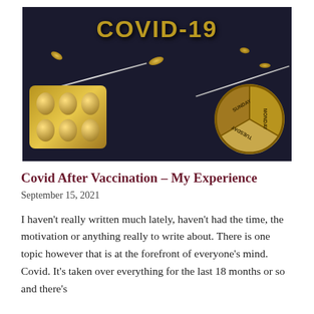[Figure (photo): Dark blue background photo showing the word 'COVID-19' spelled out in gold/bronze pills and capsules, with syringes and a pill blister pack and weekly pill organizer (showing SUNDAY, MONDAY, TUESDAY sections) arranged on the surface.]
Covid After Vaccination – My Experience
September 15, 2021
I haven't really written much lately, haven't had the time, the motivation or anything really to write about. There is one topic however that is at the forefront of everyone's mind. Covid. It's taken over everything for the last 18 months or so and there's